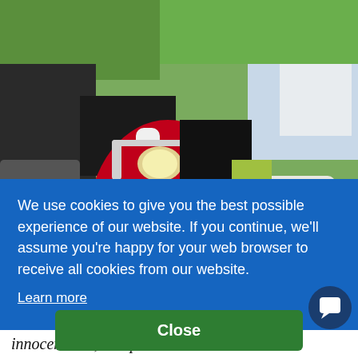[Figure (photo): Outdoor scooter/motorcycle rally showing vintage Lambretta and other scooters, prominently featuring a red and white Lambretta 'Special' scooter in the foreground, with various other scooters and motorcycles in the background against trees and tents.]
We use cookies to give you the best possible experience of our website. If you continue, we'll assume you're happy for your web browser to receive all cookies from our website.
Learn more
Close
innocent line, and production ran until 1969.